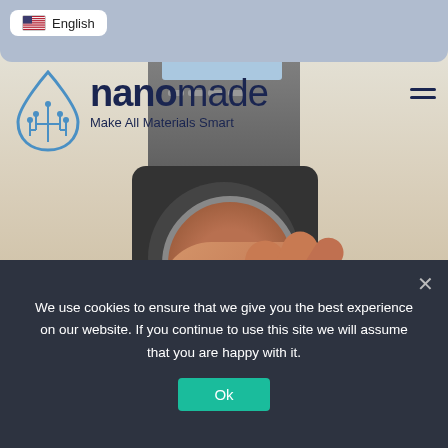[Figure (screenshot): Website screenshot of nanomade company page showing a hand touching a smart lock device, with navigation bar, logo, and cookie consent banner]
English
nanomade Make All Materials Smart
We use cookies to ensure that we give you the best experience on our website. If you continue to use this site we will assume that you are happy with it.
Ok